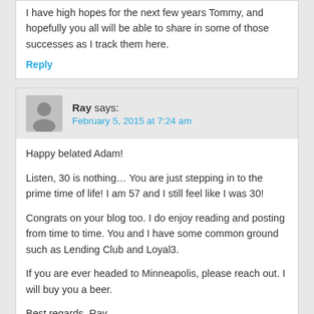I have high hopes for the next few years Tommy, and hopefully you all will be able to share in some of those successes as I track them here.
Reply
Ray says: February 5, 2015 at 7:24 am
Happy belated Adam!
Listen, 30 is nothing… You are just stepping in to the prime time of life! I am 57 and I still feel like I was 30!
Congrats on your blog too. I do enjoy reading and posting from time to time. You and I have some common ground such as Lending Club and Loyal3.
If you are ever headed to Minneapolis, please reach out. I will buy you a beer.
Best regards, Ray
Reply